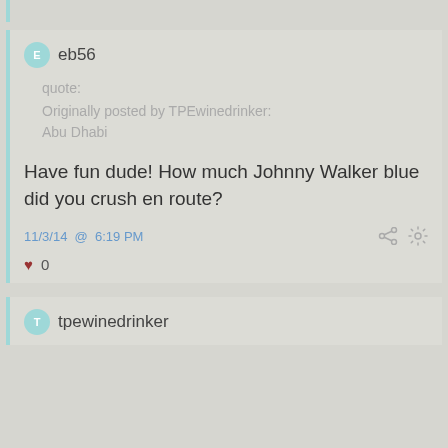eb56
quote:
Originally posted by TPEwinedrinker:
Abu Dhabi
Have fun dude! How much Johnny Walker blue did you crush en route?
11/3/14 @ 6:19 PM
0
tpewinedrinker